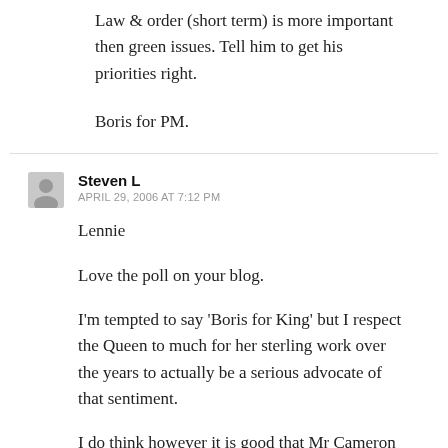Law & order (short term) is more important then green issues. Tell him to get his priorities right.
Boris for PM.
Steven L
APRIL 29, 2006 AT 7:12 PM
Lennie
Love the poll on your blog.
I'm tempted to say 'Boris for King' but I respect the Queen to much for her sterling work over the years to actually be a serious advocate of that sentiment.
I do think however it is good that Mr Cameron highlights green issues in his local elections campaign as this is an issue that I believe is best tackled locally in our